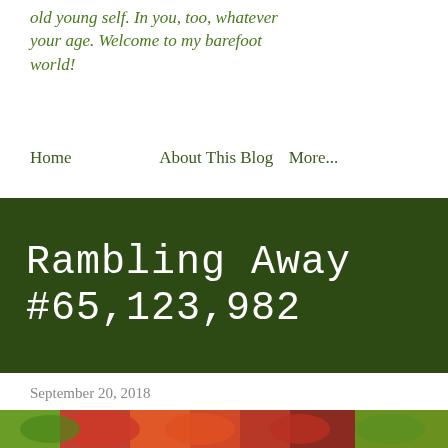old young self. In you, too, whatever your age. Welcome to my barefoot world!
Home
About This Blog
More...
Rambling Away #65,123,982
September 20, 2018
[Figure (photo): Partial view of a floral/nature photo at the bottom of the page, showing green leaves and colorful flowers]